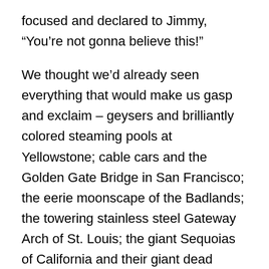focused and declared to Jimmy, “You’re not gonna believe this!”
We thought we’d already seen everything that would make us gasp and exclaim – geysers and brilliantly colored steaming pools at Yellowstone; cable cars and the Golden Gate Bridge in San Francisco; the eerie moonscape of the Badlands; the towering stainless steel Gateway Arch of St. Louis; the giant Sequoias of California and their giant dead trunks thrown up like so many matchsticks on the Pacific beaches of Oregon and Washington; iconic symbols of cowboy country littered throughout the West; the huge Saturn V rocket at the Kennedy Space Center which stopped us and our fellow tourists dead in our tracks while we all said “WOW!”; an armadillo; a manatee; whales migrating north along the west coast and dolphins